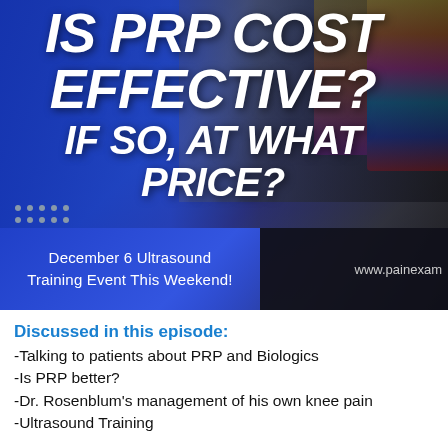[Figure (photo): Background image of medical vials/test tubes with blue gradient overlay. Large bold italic white text reads 'IS PRP COST EFFECTIVE? IF SO, AT WHAT PRICE?' overlaid on the image. Below is a blue panel with event text and a dark panel with website URL.]
December 6 Ultrasound Training Event This Weekend!
www.painexaminer.com
Discussed in this episode:
-Talking to patients about PRP and Biologics
-Is PRP better?
-Dr. Rosenblum's management of his own knee pain
-Ultrasound Training